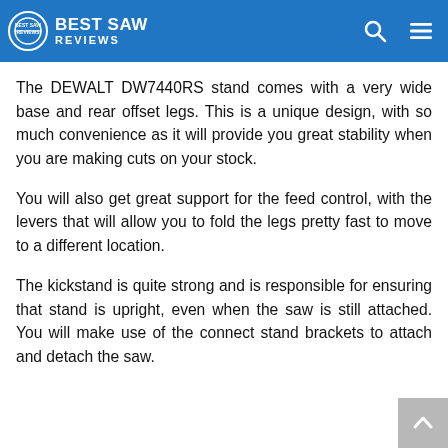BEST SAW REVIEWS
The DEWALT DW7440RS stand comes with a very wide base and rear offset legs. This is a unique design, with so much convenience as it will provide you great stability when you are making cuts on your stock.
You will also get great support for the feed control, with the levers that will allow you to fold the legs pretty fast to move to a different location.
The kickstand is quite strong and is responsible for ensuring that stand is upright, even when the saw is still attached. You will make use of the connect stand brackets to attach and detach the saw.